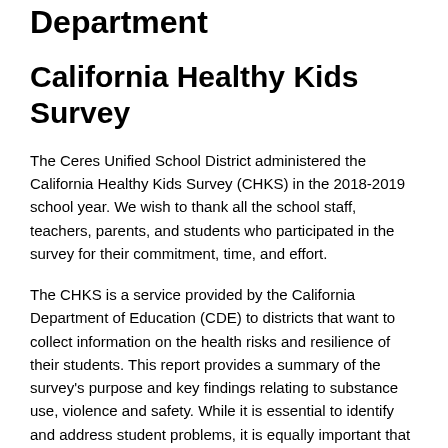Department
California Healthy Kids Survey
The Ceres Unified School District administered the California Healthy Kids Survey (CHKS) in the 2018-2019 school year. We wish to thank all the school staff, teachers, parents, and students who participated in the survey for their commitment, time, and effort.
The CHKS is a service provided by the California Department of Education (CDE) to districts that want to collect information on the health risks and resilience of their students. This report provides a summary of the survey's purpose and key findings relating to substance use, violence and safety. While it is essential to identify and address student problems, it is equally important that we do not lose sight of the positive behaviors and attitudes of most youth. The CHKS provides the data to do this. This report